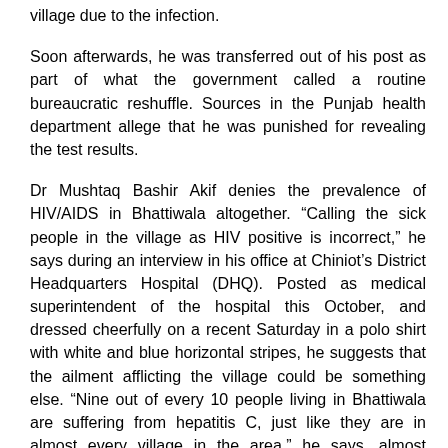village due to the infection.
Soon afterwards, he was transferred out of his post as part of what the government called a routine bureaucratic reshuffle. Sources in the Punjab health department allege that he was punished for revealing the test results.
Dr Mushtaq Bashir Akif denies the prevalence of HIV/AIDS in Bhattiwala altogether. “Calling the sick people in the village as HIV positive is incorrect,” he says during an interview in his office at Chiniot’s District Headquarters Hospital (DHQ). Posted as medical superintendent of the hospital this October, and dressed cheerfully on a recent Saturday in a polo shirt with white and blue horizontal stripes, he suggests that the ailment afflicting the village could be something else. “Nine out of every 10 people living in Bhattiwala are suffering from hepatitis C, just like they are in almost every village in the area,” he says, almost chuckling.
His supervisor and chief executive officer of the district health department, Dr Akhtar Husain, rubbishes reports of